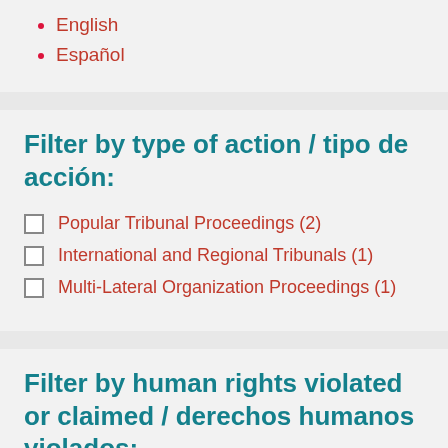English
Español
Filter by type of action / tipo de acción:
Popular Tribunal Proceedings (2)
International and Regional Tribunals (1)
Multi-Lateral Organization Proceedings (1)
Filter by human rights violated or claimed / derechos humanos violados:
Right to a healthy environment